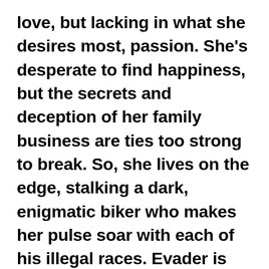love, but lacking in what she desires most, passion. She's desperate to find happiness, but the secrets and deception of her family business are ties too strong to break. So, she lives on the edge, stalking a dark, enigmatic biker who makes her pulse soar with each of his illegal races. Evader is gorgeous and mysterious, and he never loses. He's exactly what she wants, but an affair with any man is the one thing that